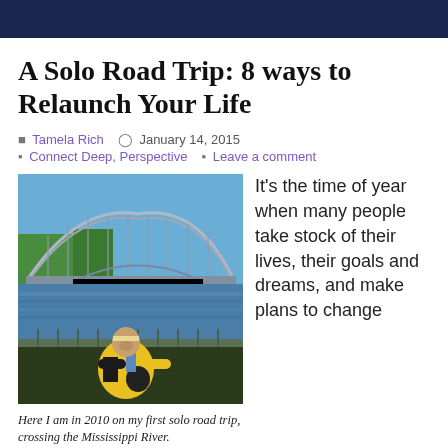A Solo Road Trip: 8 ways to Relaunch Your Life
Tamela Rich  January 14, 2015  Connect Deep, Perspective  Leave a comment
[Figure (photo): Woman in yellow and black jacket standing in front of a large steel arch bridge over a wide river (Mississippi River), blue sky, green trees, boats in water. Taken in 2010.]
Here I am in 2010 on my first solo road trip, crossing the Mississippi River.
It's the time of year when many people take stock of their lives, their goals and dreams, and make plans to change